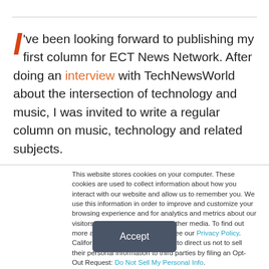I've been looking forward to publishing my first column for ECT News Network. After doing an interview with TechNewsWorld about the intersection of technology and music, I was invited to write a regular column on music, technology and related subjects.
This website stores cookies on your computer. These cookies are used to collect information about how you interact with our website and allow us to remember you. We use this information in order to improve and customize your browsing experience and for analytics and metrics about our visitors both on this website and other media. To find out more about the cookies we use, see our Privacy Policy. California residents have the right to direct us not to sell their personal information to third parties by filing an Opt-Out Request: Do Not Sell My Personal Info.
Accept